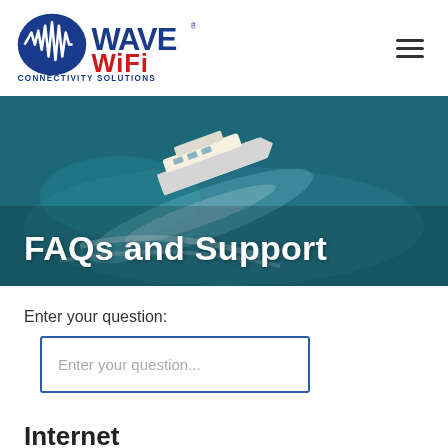[Figure (logo): Wave WiFi Connectivity Solutions logo — blue oval with waveform and text, WiFi in red]
[Figure (photo): Aerial photo of a white luxury yacht on teal ocean water, view from above]
FAQs and Support
Enter your question:
Enter your question...
Internet